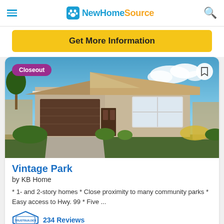NewHomeSource
Get More Information
[Figure (photo): Exterior rendering of a single-story home with brown roof, two-car garage, stone veneer base, with blue sky and landscaping. Closeout badge in upper left.]
Vintage Park
by KB Home
* 1- and 2-story homes * Close proximity to many community parks * Easy access to Hwy. 99 * Five ...
234 Reviews
TrustBuilder